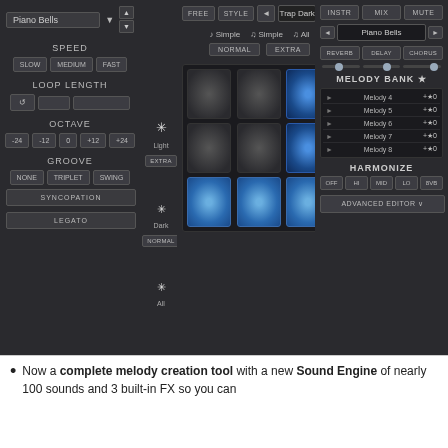[Figure (screenshot): Music production software interface showing a beat/melody maker with controls for Speed, Loop Length, Octave, and Groove on the left panel; a center pad grid with 9 pads (some lit blue) for pattern selection with Trap Dark preset, Simple/All melody modes, and light/dark/all controls; a right panel showing Melody Bank with Melody 4-8 entries, Harmonize controls, FX buttons (REVERB, DELAY, CHORUS), and Piano Bells instrument selector.]
Now a complete melody creation tool with a new Sound Engine of nearly 100 sounds and 3 built-in FX so you can